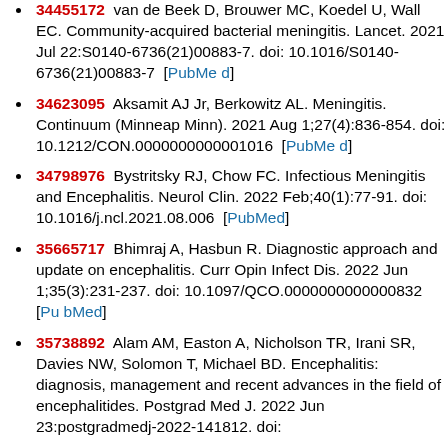34455172 van de Beek D, Brouwer MC, Koedel U, Wall EC. Community-acquired bacterial meningitis. Lancet. 2021 Jul 22:S0140-6736(21)00883-7. doi: 10.1016/S0140-6736(21)00883-7 [PubMed]
34623095 Aksamit AJ Jr, Berkowitz AL. Meningitis. Continuum (Minneap Minn). 2021 Aug 1;27(4):836-854. doi: 10.1212/CON.0000000000001016 [PubMed]
34798976 Bystritsky RJ, Chow FC. Infectious Meningitis and Encephalitis. Neurol Clin. 2022 Feb;40(1):77-91. doi: 10.1016/j.ncl.2021.08.006 [PubMed]
35665717 Bhimraj A, Hasbun R. Diagnostic approach and update on encephalitis. Curr Opin Infect Dis. 2022 Jun 1;35(3):231-237. doi: 10.1097/QCO.0000000000000832 [PubMed]
35738892 Alam AM, Easton A, Nicholson TR, Irani SR, Davies NW, Solomon T, Michael BD. Encephalitis: diagnosis, management and recent advances in the field of encephalitides. Postgrad Med J. 2022 Jun 23:postgradmedj-2022-141812. doi: